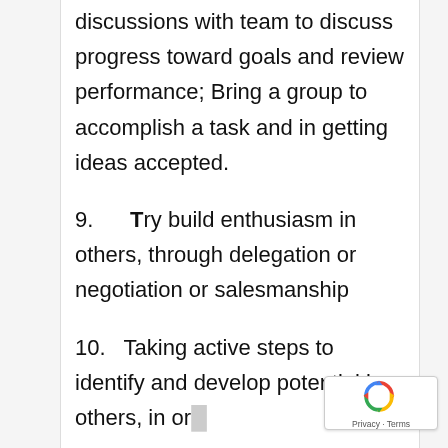discussions with team to discuss progress toward goals and review performance; Bring a group to accomplish a task and in getting ideas accepted.
9.      Try build enthusiasm in others, through delegation or negotiation or salesmanship
10.   Taking active steps to identify and develop potential in others, in or...